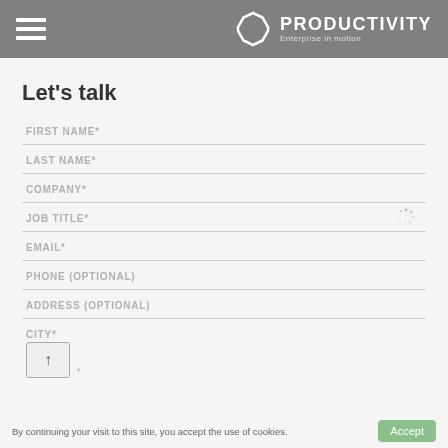PRODUCTIVITY — Enterprise in motion
Let's talk
FIRST NAME*
LAST NAME*
COMPANY*
JOB TITLE*
EMAIL*
PHONE (OPTIONAL)
ADDRESS (OPTIONAL)
CITY*
By continuing your visit to this site, you accept the use of cookies.